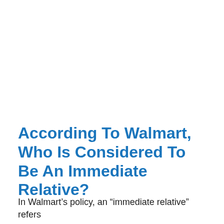According To Walmart, Who Is Considered To Be An Immediate Relative?
In Walmart’s policy, an “immediate relative” refers